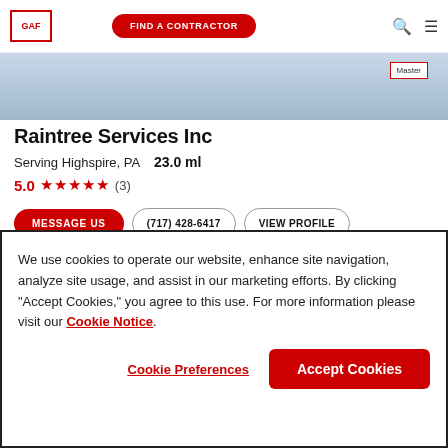GAF | FIND A CONTRACTOR
[Figure (screenshot): Partial hero image showing a roofing product with a Master Elite badge logo in upper right]
Raintree Services Inc
Serving Highspire, PA  23.0 ml
5.0 ★★★★★ (3)
MESSAGE US  (717) 428-6417  VIEW PROFILE
[Figure (photo): Partial photo of a blue commercial building exterior]
We use cookies to operate our website, enhance site navigation, analyze site usage, and assist in our marketing efforts. By clicking "Accept Cookies," you agree to this use. For more information please visit our Cookie Notice.
Cookie Preferences  Accept Cookies